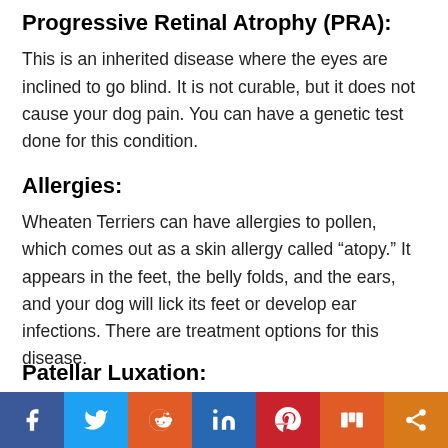Progressive Retinal Atrophy (PRA):
This is an inherited disease where the eyes are inclined to go blind. It is not curable, but it does not cause your dog pain. You can have a genetic test done for this condition.
Allergies:
Wheaten Terriers can have allergies to pollen, which comes out as a skin allergy called “atopy.” It appears in the feet, the belly folds, and the ears, and your dog will lick its feet or develop ear infections. There are treatment options for this disease.
Patellar Luxation: